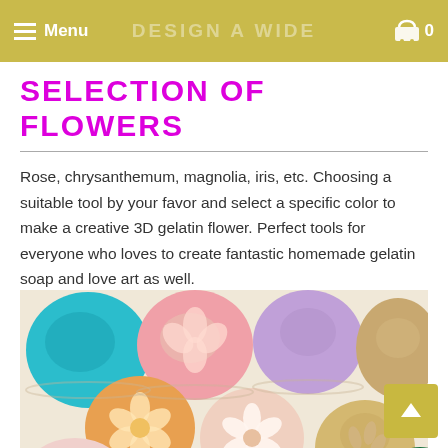Menu  DESIGN A WIDE  0
SELECTION OF FLOWERS
Rose, chrysanthemum, magnolia, iris, etc. Choosing a suitable tool by your favor and select a specific color to make a creative 3D gelatin flower. Perfect tools for everyone who loves to create fantastic homemade gelatin soap and love art as well.
[Figure (photo): Colorful 3D gelatin flowers in clear cups/molds arranged together, showing various colors including teal/blue, pink, orange, purple, lavender, yellow, and white with flower designs embedded in gelatin]